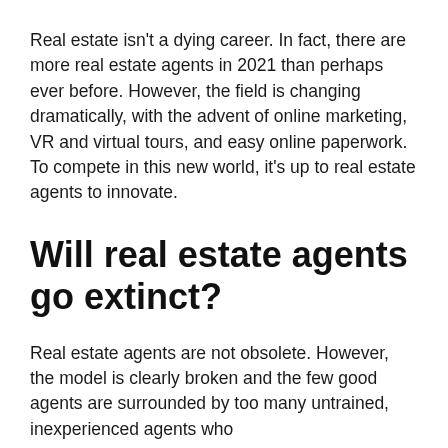Real estate isn't a dying career. In fact, there are more real estate agents in 2021 than perhaps ever before. However, the field is changing dramatically, with the advent of online marketing, VR and virtual tours, and easy online paperwork. To compete in this new world, it's up to real estate agents to innovate.
Will real estate agents go extinct?
Real estate agents are not obsolete. However, the model is clearly broken and the few good agents are surrounded by too many untrained, inexperienced agents who